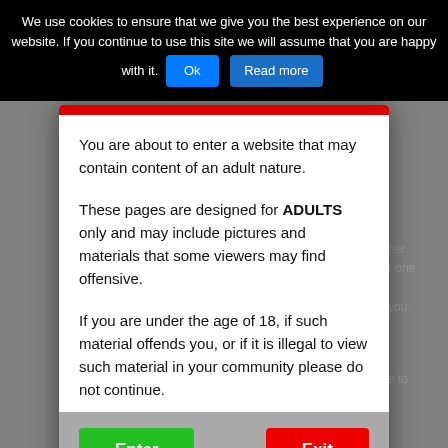We use cookies to ensure that we give you the best experience on our website. If you continue to use this site we will assume that you are happy with it. Ok Read more
You are about to enter a website that may contain content of an adult nature.

These pages are designed for ADULTS only and may include pictures and materials that some viewers may find offensive.

If you are under the age of 18, if such material offends you, or if it is illegal to view such material in your community please do not continue.
Enter
Exit